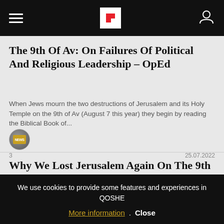Flipboard app header with hamburger menu, Flipboard logo, and user icon
The 9th Of Av: On Failures Of Political And Religious Leadership – OpEd
When Jews mourn the two destructions of Jerusalem and its Holy Temple on the 9th of Av (August 7 this year) they begin by reading the Biblical Book of...
3   25.07.2022
Why We Lost Jerusalem Again On The 9th Of Av – OpEd
As the 9th of Av approaches (on August 7th) those who love Israel should reflect about why Jerusalem and its Holy Temple were destroyed not once, but...
We use cookies to provide some features and experiences in QOSHE
More information . Close